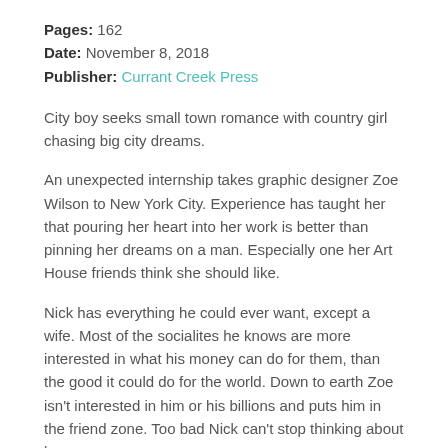Pages: 162
Date: November 8, 2018
Publisher: Currant Creek Press
City boy seeks small town romance with country girl chasing big city dreams.
An unexpected internship takes graphic designer Zoe Wilson to New York City. Experience has taught her that pouring her heart into her work is better than pinning her dreams on a man. Especially one her Art House friends think she should like.
Nick has everything he could ever want, except a wife. Most of the socialites he knows are more interested in what his money can do for them, than the good it could do for the world. Down to earth Zoe isn't interested in him or his billions and puts him in the friend zone. Too bad Nick can't stop thinking about her.